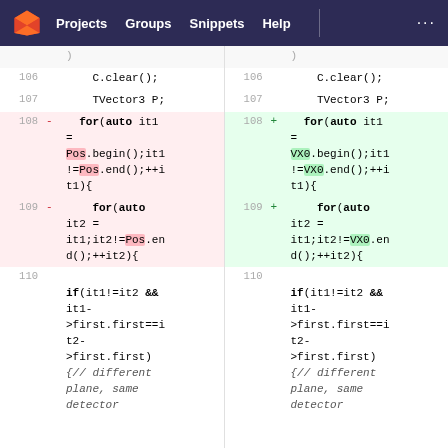Projects  Groups  Snippets  Help
[Figure (screenshot): GitLab code diff view showing two panes side by side. Left pane shows old code with lines 106-110 and right pane shows new code with lines 106-110. Lines 108-109 are changed: 'Pos' replaced with 'VX0'. Line 110 shows unchanged code with if(it1!=it2 && it1->first.first==it2->first.first) {// different plane, same detector]